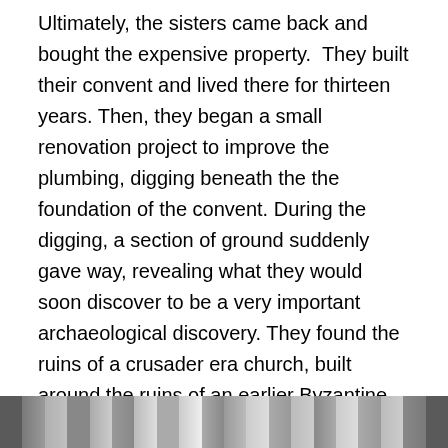Ultimately, the sisters came back and bought the expensive property.  They built their convent and lived there for thirteen years. Then, they began a small renovation project to improve the plumbing, digging beneath the the foundation of the convent. During the digging, a section of ground suddenly gave way, revealing what they would soon discover to be a very important archaeological discovery. They found the ruins of a crusader era church, built around the ruins of an earlier Byzantine era church, which in turn was built around a first century house.  Evidence in the site and writings from early Christian pilgrims to the area helped confirm the belief that the early church recognized the site as the home of Joseph (husband of Mary, father to Jesus), who is also referred to in Scripture as “The Just.”
[Figure (photo): A horizontal strip of photographs at the bottom of the page, showing various scenes, partially visible.]